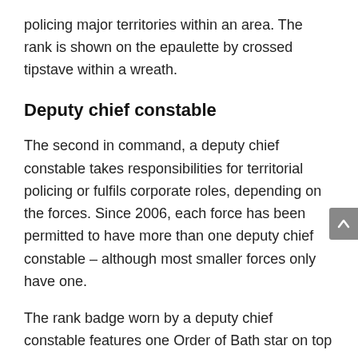policing major territories within an area. The rank is shown on the epaulette by crossed tipstave within a wreath.
Deputy chief constable
The second in command, a deputy chief constable takes responsibilities for territorial policing or fulfils corporate roles, depending on the forces. Since 2006, each force has been permitted to have more than one deputy chief constable – although most smaller forces only have one.
The rank badge worn by a deputy chief constable features one Order of Bath star on top of a crossed tipstave within a wreath.